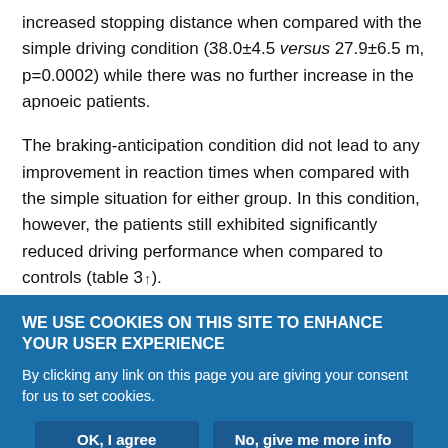increased stopping distance when compared with the simple driving condition (38.0±4.5 versus 27.9±6.5 m, p=0.0002) while there was no further increase in the apnoeic patients.
The braking-anticipation condition did not lead to any improvement in reaction times when compared with the simple situation for either group. In this condition, however, the patients still exhibited significantly reduced driving performance when compared to controls (table 3↑).
An association was found between the mean reaction time in real driving condition and reaction time in the divided attention test
WE USE COOKIES ON THIS SITE TO ENHANCE YOUR USER EXPERIENCE
By clicking any link on this page you are giving your consent for us to set cookies.